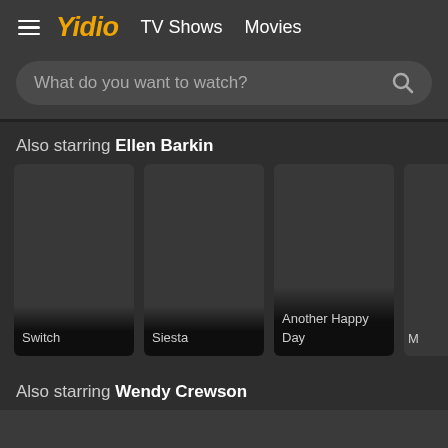☰ Yidio  TV Shows  Movies
What do you want to watch?
Also starring Ellen Barkin
[Figure (screenshot): Movie card for 'Switch' - dark placeholder image with title at bottom]
[Figure (screenshot): Movie card for 'Siesta' - dark placeholder image with title at bottom]
[Figure (screenshot): Movie card for 'Another Happy Day' - dark placeholder image with title at bottom]
[Figure (screenshot): Partially visible movie card cut off at right edge]
Also starring Wendy Crewson